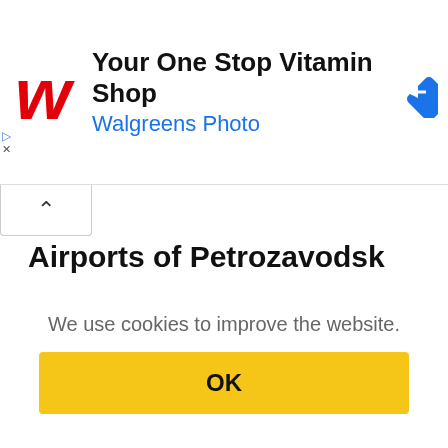[Figure (screenshot): Walgreens advertisement banner with red Walgreens W logo, text 'Your One Stop Vitamin Shop' and blue 'Walgreens Photo' subtitle, plus a blue diamond navigation arrow icon on the right]
Airports of Petrozavodsk
Petrozavodsk Besovets (PES)
We use cookies to improve the website.
OK